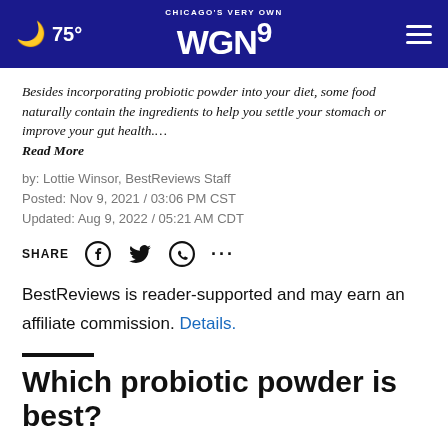75° CHICAGO'S VERY OWN WGN9
Besides incorporating probiotic powder into your diet, some food naturally contain the ingredients to help you settle your stomach or improve your gut health.... Read More
by: Lottie Winsor, BestReviews Staff
Posted: Nov 9, 2021 / 03:06 PM CST
Updated: Aug 9, 2022 / 05:21 AM CDT
SHARE
BestReviews is reader-supported and may earn an affiliate commission. Details.
Which probiotic powder is best?